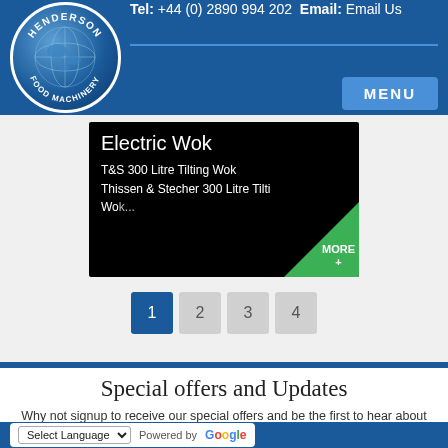Henderson Food Machinery — Tel: +44 (0) 2890 994 202 Email: Email Us
[Figure (logo): Henderson Food Machinery circular logo with globe on dark blue background]
T&S 300 Litre Tilting Wok
Thissen & Stecher 300 Litre Tilting Wok
Electric Wok
MORE +
1  2  3  4
Special offers and Updates
Why not signup to receive our special offers and be the first to hear about new machines as they arrive.
email address
Select Language    Powered by Google